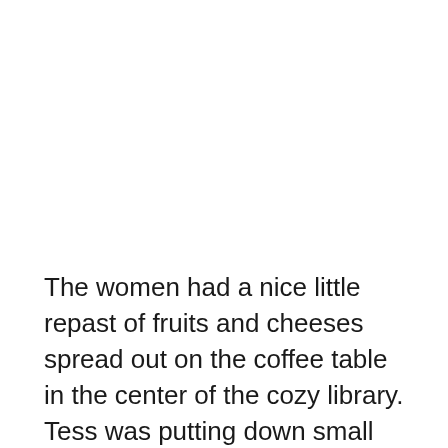The women had a nice little repast of fruits and cheeses spread out on the coffee table in the center of the cozy library. Tess was putting down small plates and there was already an